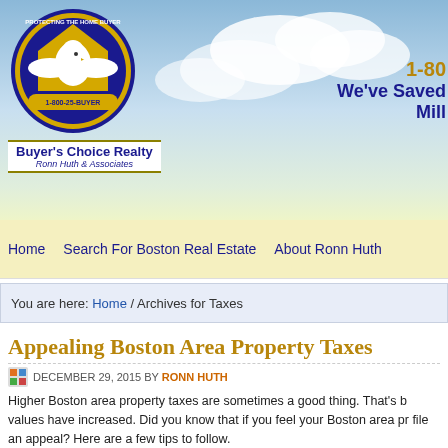[Figure (logo): Buyer's Choice Realty logo with eagle and shield, 'Protecting the Home Buyer' circular text, Ronn Huth & Associates, 1-800-25-BUYER]
1-80... We've Saved Mill...
Home | Search For Boston Real Estate | About Ronn Huth
You are here: Home / Archives for Taxes
Appealing Boston Area Property Taxes
DECEMBER 29, 2015 BY RONN HUTH
Higher Boston area property taxes are sometimes a good thing. That's b values have increased. Did you know that if you feel your Boston area pr file an appeal? Here are a few tips to follow.
Review Boston Area Property Taxes
When you receive your tax notice, examine it closely. Look for errors tha value of your home. Ask your county's tax assessor's office for a pro...